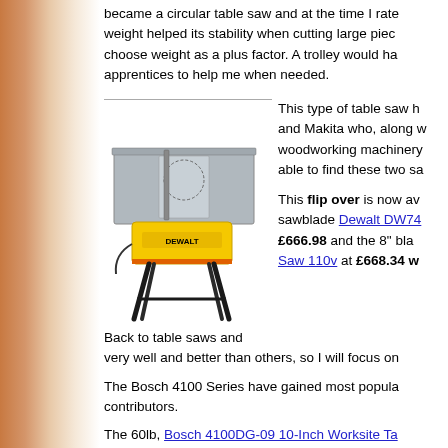became a circular table saw and at the time I rate weight helped its stability when cutting large pieces. choose weight as a plus factor. A trolley would have apprentices to help me when needed.
[Figure (photo): A yellow DeWalt flip-over table saw with black metal legs on a stand]
This type of table saw h and Makita who, along with woodworking machinery, were able to find these two sa
This flip over is now available sawblade Dewalt DW74 £666.98 and the 8" blade Saw 110v at £668.34 w
Back to table saws and very well and better than others, so I will focus on
The Bosch 4100 Series have gained most popularity contributors.
The 60lb, Bosch 4100DG-09 10-Inch Worksite Table Saw which is top ranked amongst its competitors has 25". It will also complete bevel cuts up to 47 degrees x 21.5" and if you need additional side and rear table plywood cutting, these can be bought separately. wheeled stand, weighing a sturdy 39lbs. Current